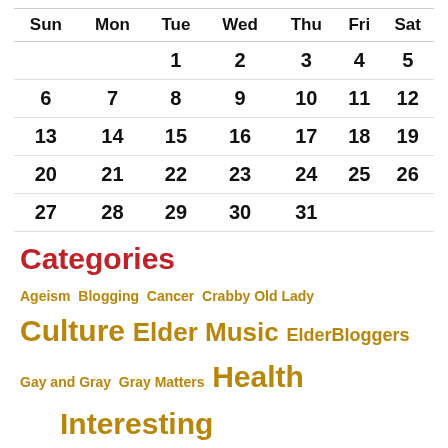| Sun | Mon | Tue | Wed | Thu | Fri | Sat |
| --- | --- | --- | --- | --- | --- | --- |
|  |  | 1 | 2 | 3 | 4 | 5 |
| 6 | 7 | 8 | 9 | 10 | 11 | 12 |
| 13 | 14 | 15 | 16 | 17 | 18 | 19 |
| 20 | 21 | 22 | 23 | 24 | 25 | 26 |
| 27 | 28 | 29 | 30 | 31 |  |  |
Categories
Ageism Blogging Cancer Crabby Old Lady Culture Elder Music ElderBloggers Gay and Gray Gray Matters Health Interesting Stuff Journal Mental Doodles Oliver Politics Readers' Stories